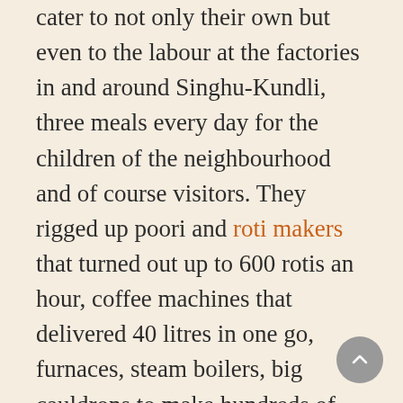cater to not only their own but even to the labour at the factories in and around Singhu-Kundli, three meals every day for the children of the neighbourhood and of course visitors. They rigged up poori and roti makers that turned out up to 600 rotis an hour, coffee machines that delivered 40 litres in one go, furnaces, steam boilers, big cauldrons to make hundreds of litres of dal and vegetables, and wood fired geysers.
This is the langar people from Delhi